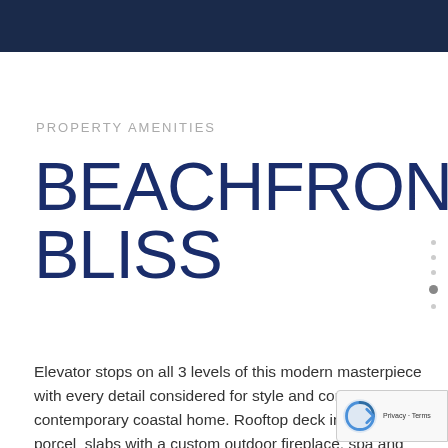PROPERTY AMENITIES
BEACHFRONT BLISS
Elevator stops on all 3 levels of this modern masterpiece with every detail considered for style and comfort in this contemporary coastal home. Rooftop deck in porcel... slabs with a custom outdoor fireplace, spa and built... BBQ. Finest finishes optimizing luxury. 2-car garage... contemporary; durable flooring and smart garage door...